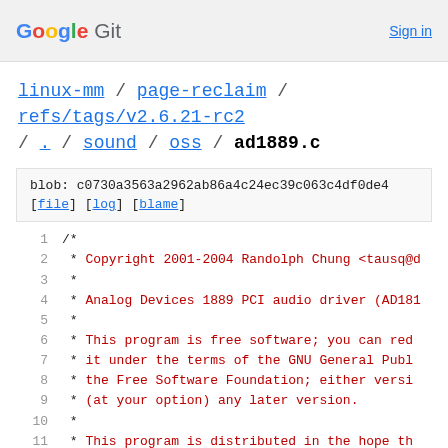Google Git   Sign in
linux-mm / page-reclaim / refs/tags/v2.6.21-rc2 / . / sound / oss / ad1889.c
blob: c0730a3563a2962ab86a4c24ec39c063c4df0de4
[file] [log] [blame]
1   /*
2    * Copyright 2001-2004 Randolph Chung <tausq@d
3    *
4    *   Analog Devices 1889 PCI audio driver (AD181
5    *
6    *   This program is free software; you can red
7    *   it under the terms of the GNU General Publ
8    *   the Free Software Foundation; either versi
9    *   (at your option) any later version.
10   *
11   *   This program is distributed in the hope th